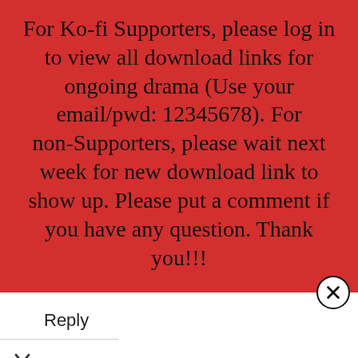For Ko-fi Supporters, please log in to view all download links for ongoing drama (Use your email/pwd: 12345678). For non-Supporters, please wait next week for new download link to show up. Please put a comment if you have any question. Thank you!!!
Reply
[Figure (screenshot): Dropdown chevron button]
[Figure (infographic): Advertisement: Time For a Trim? Hair Cuttery, with yellow HC logo and blue navigation arrow icon]